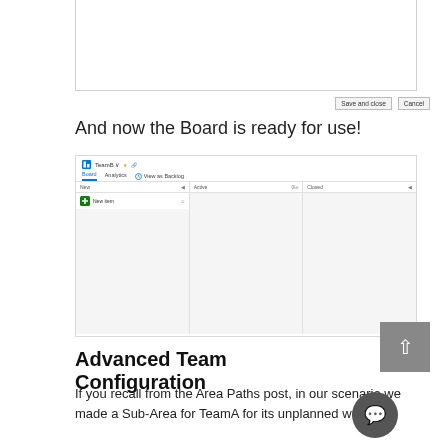[Figure (screenshot): Top portion of a dialog/form screenshot with white background and light border, partially visible at top of page]
[Figure (screenshot): Save and close / Cancel buttons row from a dialog]
And now the Board is ready for use!
[Figure (screenshot): Microsoft Azure DevOps Board screenshot showing TeamB board with columns: New, Active, Closed. A '+ New item' button is visible in the New column.]
Advanced Team Configuration
If you recall from the Area Paths post, in our scenario we made a Sub-Area for TeamA for its unplanned work. We